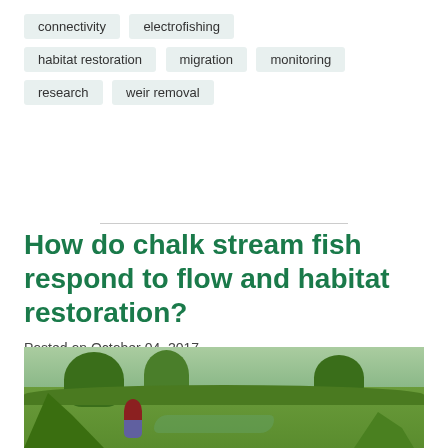connectivity
electrofishing
habitat restoration
migration
monitoring
research
weir removal
How do chalk stream fish respond to flow and habitat restoration?
Posted on October 04, 2017
[Figure (photo): A person sitting on grass beside a chalk stream or river channel, surrounded by lush green vegetation, shrubs, and trees in an outdoor countryside setting.]